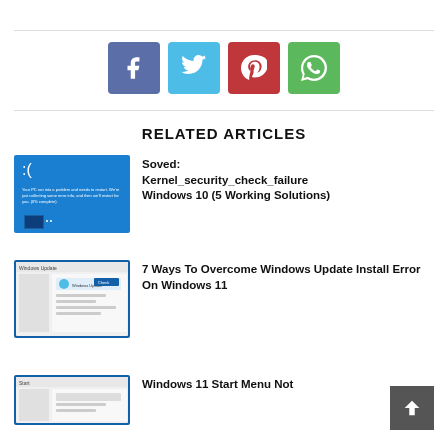[Figure (other): Social share buttons: Facebook, Twitter, Pinterest, WhatsApp]
RELATED ARTICLES
[Figure (screenshot): Blue screen of death (BSOD) Windows error screen]
Soved: Kernel_security_check_failure Windows 10 (5 Working Solutions)
[Figure (screenshot): Windows Update settings screen on Windows 11]
7 Ways To Overcome Windows Update Install Error On Windows 11
[Figure (screenshot): Windows 11 Start Menu screenshot (partial)]
Windows 11 Start Menu Not